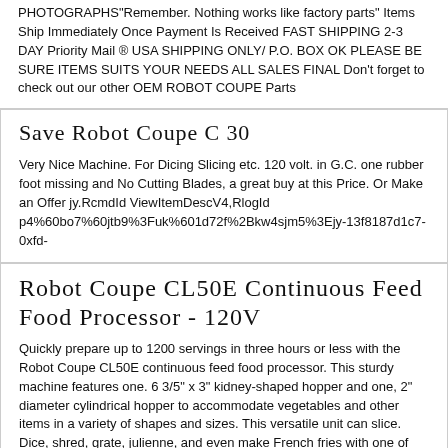PHOTOGRAPHS"Remember. Nothing works like factory parts" Items Ship Immediately Once Payment Is Received FAST SHIPPING 2-3 DAY Priority Mail ® USA SHIPPING ONLY/ P.O. BOX OK PLEASE BE SURE ITEMS SUITS YOUR NEEDS ALL SALES FINAL Don't forget to check out our other OEM ROBOT COUPE Parts
Save Robot Coupe C 30
Very Nice Machine. For Dicing Slicing etc. 120 volt. in G.C. one rubber foot missing and No Cutting Blades, a great buy at this Price. Or Make an Offer jy.RcmdId ViewItemDescV4,RlogId p4%60bo7%60jtb9%3Fuk%601d72f%2Bkw4sjm5%3Ejy-13f8187d1c7-0xfd-
Robot Coupe CL50E Continuous Feed Food Processor - 120V
Quickly prepare up to 1200 servings in three hours or less with the Robot Coupe CL50E continuous feed food processor. This sturdy machine features one. 6 3/5" x 3" kidney-shaped hopper and one, 2" diameter cylindrical hopper to accommodate vegetables and other items in a variety of shapes and sizes. This versatile unit can slice. Dice, shred, grate, julienne, and even make French fries with one of the 38 available processing discs. A 1/8" slicing disc and a 1/8" grating disc are included so you can start processing right away! This machine's heavy duty belt drive 1.5 HP motor is fan cooled and includes a magnetic safety system and motor brake. For additional convenience, the machine attachments may be easily removed for cleaning. The Robot Coupe CL50E is ETL Listed and requires a 120V electrical connection for ... more